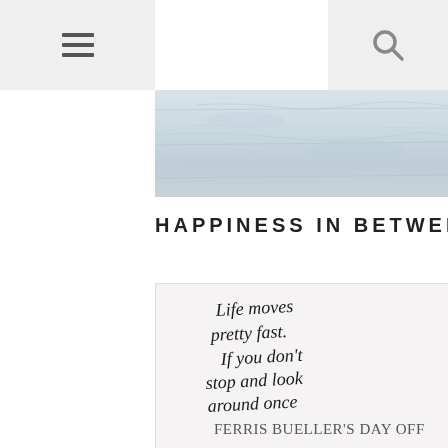☰  🔍
[Figure (photo): Top banner image showing a light-colored weathered wood or marble texture surface]
HAPPINESS IN BETWEEN
[Figure (photo): Handwritten calligraphy quote on light paper: 'Life moves pretty fast. If you don't stop and look around once in a while, you could miss it.' — FERRIS BUELLER'S DAY OFF]